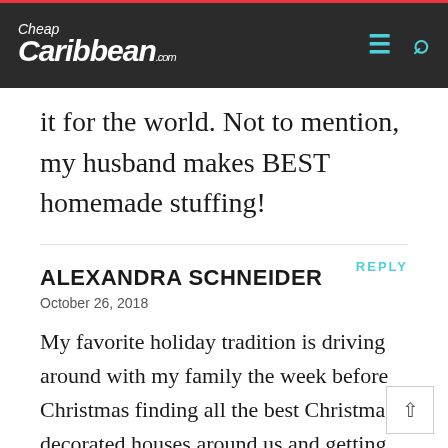Cheap Caribbean .com
it for the world. Not to mention, my husband makes BEST homemade stuffing!
REPLY
ALEXANDRA SCHNEIDER
October 26, 2018
My favorite holiday tradition is driving around with my family the week before Christmas finding all the best Christmas decorated houses around us and getting hot cocoa together.